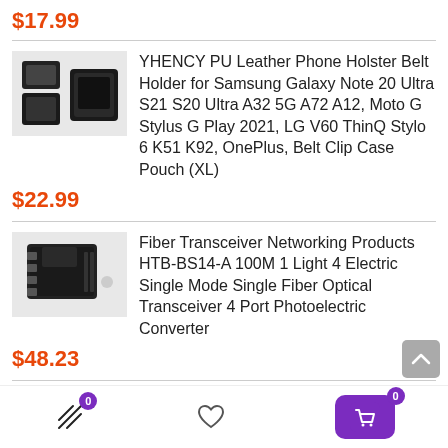$17.99
[Figure (photo): YHENCY PU Leather Phone Holster product image]
YHENCY PU Leather Phone Holster Belt Holder for Samsung Galaxy Note 20 Ultra S21 S20 Ultra A32 5G A72 A12, Moto G Stylus G Play 2021, LG V60 ThinQ Stylo 6 K51 K92, OnePlus, Belt Clip Case Pouch (XL)
$22.99
[Figure (photo): Fiber Transceiver Networking product image]
Fiber Transceiver Networking Products HTB-BS14-A 100M 1 Light 4 Electric Single Mode Single Fiber Optical Transceiver 4 Port Photoelectric Converter
$48.23
Wireless Gaming Mouse O13